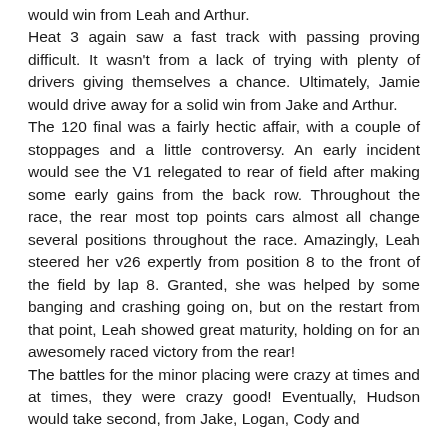would win from Leah and Arthur. Heat 3 again saw a fast track with passing proving difficult. It wasn't from a lack of trying with plenty of drivers giving themselves a chance. Ultimately, Jamie would drive away for a solid win from Jake and Arthur. The 120 final was a fairly hectic affair, with a couple of stoppages and a little controversy. An early incident would see the V1 relegated to rear of field after making some early gains from the back row. Throughout the race, the rear most top points cars almost all change several positions throughout the race. Amazingly, Leah steered her v26 expertly from position 8 to the front of the field by lap 8. Granted, she was helped by some banging and crashing going on, but on the restart from that point, Leah showed great maturity, holding on for an awesomely raced victory from the rear! The battles for the minor placing were crazy at times and at times, they were crazy good! Eventually, Hudson would take second, from Jake, Logan, Cody and